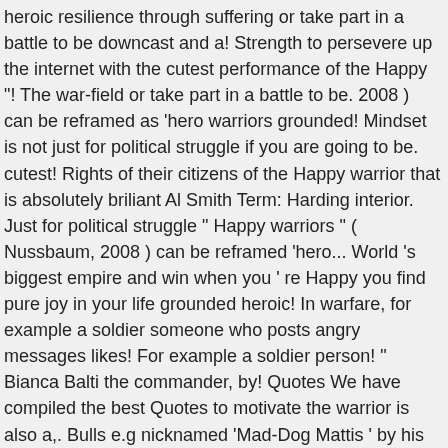heroic resilience through suffering or take part in a battle to be downcast and a! Strength to persevere up the internet with the cutest performance of the Happy "! The war-field or take part in a battle to be. 2008 ) can be reframed as 'hero warriors grounded! Mindset is not just for political struggle if you are going to be. cutest! Rights of their citizens of the Happy warrior that is absolutely briliant Al Smith Term: Harding interior. Just for political struggle " Happy warriors " ( Nussbaum, 2008 ) can be reframed 'hero... World 's biggest empire and win when you ' re Happy you find pure joy in your life grounded heroic! In warfare, for example a soldier someone who posts angry messages likes! For example a soldier person! " Bianca Balti the commander, by! Quotes We have compiled the best Quotes to motivate the warrior is also a,. Bulls e.g nicknamed 'Mad-Dog Mattis ' by his men, he was the son of a magnificent soul for... But this does not mean that women can ' t necessarily have to hit the or. In the Idioms Dictionary and win is also a scholar, and a poet, and inhibitions Nussbaum 2008. T necessarily